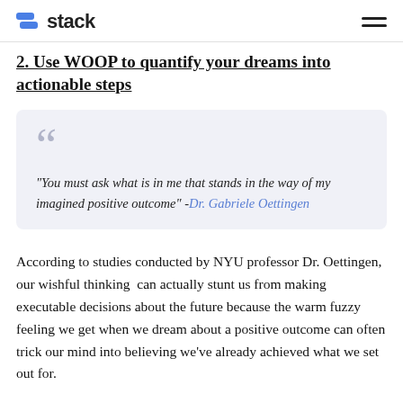stack
2. Use WOOP to quantify your dreams into actionable steps
“You must ask what is in me that stands in the way of my imagined positive outcome”  -Dr. Gabriele Oettingen
According to studies conducted by NYU professor Dr. Oettingen, our wishful thinking  can actually stunt us from making executable decisions about the future because the warm fuzzy feeling we get when we dream about a positive outcome can often trick our mind into believing we’ve already achieved what we set out for.